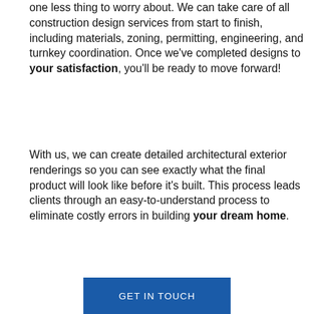one less thing to worry about. We can take care of all construction design services from start to finish, including materials, zoning, permitting, engineering, and turnkey coordination. Once we've completed designs to your satisfaction, you'll be ready to move forward!
With us, we can create detailed architectural exterior renderings so you can see exactly what the final product will look like before it's built. This process leads clients through an easy-to-understand process to eliminate costly errors in building your dream home.
GET IN TOUCH